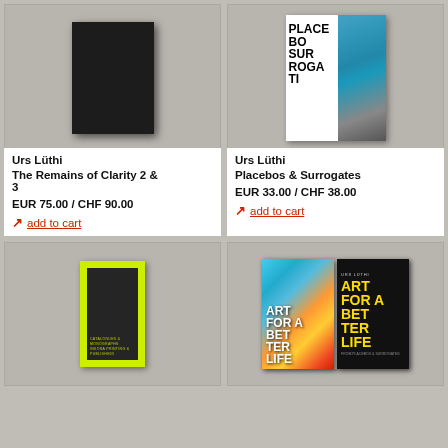[Figure (photo): Dark black book cover, nearly solid black, photographed on grey background]
[Figure (photo): Book cover for Placebos & Surrogates by Urs Lüthi, showing colorful design with white bar and bold text PLACEBO SURROGATI, person wearing sunglasses visible]
Urs Lüthi
The Remains of Clarity 2 & 3
EUR 75.00 / CHF 90.00
add to cart
Urs Lüthi
Placebos & Surrogates
EUR 33.00 / CHF 38.00
add to cart
[Figure (photo): Book with neon yellow-green border, dark cover showing a silhouette portrait, small text at bottom reading Catalogues & Monographs]
[Figure (photo): Two books side by side: left book has colorful abstract cover with ART FOR A BETTER LIFE text, right book has black cover with yellow ART FOR A BETTER LIFE text by Urs Lüthi]